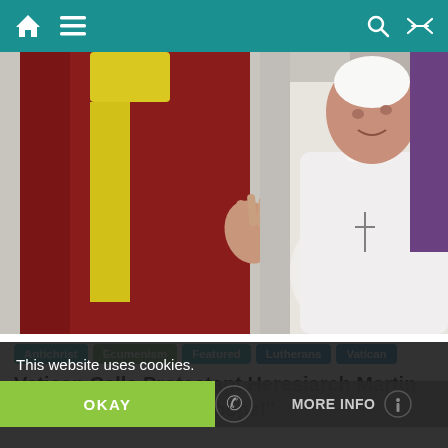Navigation bar with home, menu, search, and shuffle icons
[Figure (photo): Photo of Pope Francis in white vestments waving, with a figure in red robes and yellow scarf beside him]
Antichrist Ecumenism Featured Lutherans Vatican
Vatican Calls Protestant Heresiarch Martin Luther “Witness to Gospel”
This website uses cookies.
OKAY  MORE INFO